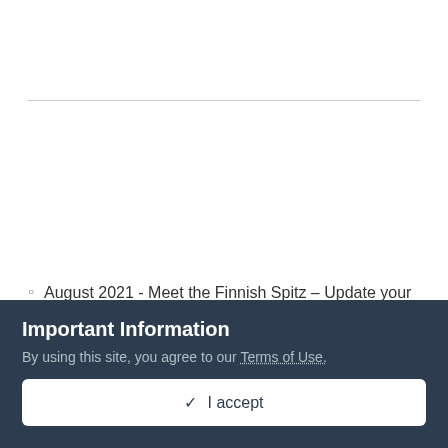August 2021 - Meet the Finnish Spitz – Update your
[Figure (photo): A golden Finnish Spitz dog standing in a snowy/white background, photographed from the side-right angle showing its fluffy coat and alert posture.]
Important Information
By using this site, you agree to our Terms of Use.
✓  I accept